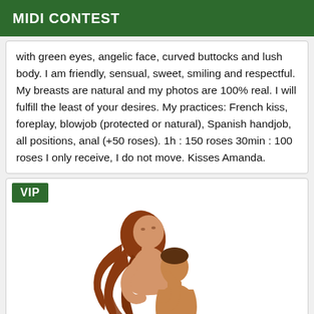MIDI CONTEST
with green eyes, angelic face, curved buttocks and lush body. I am friendly, sensual, sweet, smiling and respectful. My breasts are natural and my photos are 100% real. I will fulfill the least of your desires. My practices: French kiss, foreplay, blowjob (protected or natural), Spanish handjob, all positions, anal (+50 roses). 1h : 150 roses 30min : 100 roses I only receive, I do not move. Kisses Amanda.
[Figure (illustration): Illustrated cartoon drawing of two figures embracing/kissing, one with long reddish-brown hair, rendered in a simple line-art style with tan/brown coloring.]